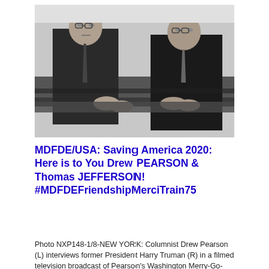[Figure (photo): Black and white photograph of two men in suits sitting across from each other at a table. The man on the left is gesturing with his hands, appearing to interview the man on the right. Both are wearing dark suits and ties.]
MDFDE/USA: Saving America 2020: Here is to You Drew PEARSON & Thomas JEFFERSON! #MDFDEFriendshipMerciTrain75
Photo NXP148-1/8-NEW YORK: Columnist Drew Pearson (L) interviews former President Harry Truman (R) in a filmed television broadcast of Pearson's Washington Merry-Go-